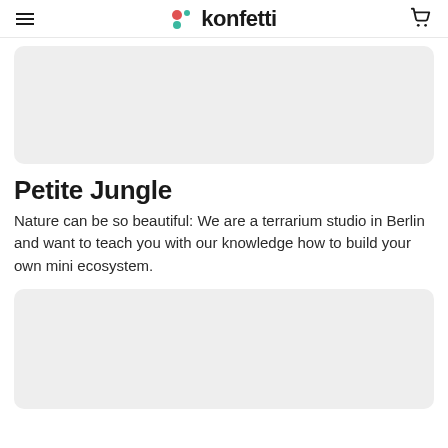konfetti
[Figure (photo): Top image placeholder card — light grey rounded rectangle]
Petite Jungle
Nature can be so beautiful: We are a terrarium studio in Berlin and want to teach you with our knowledge how to build your own mini ecosystem.
[Figure (photo): Bottom image placeholder card — light grey rounded rectangle]